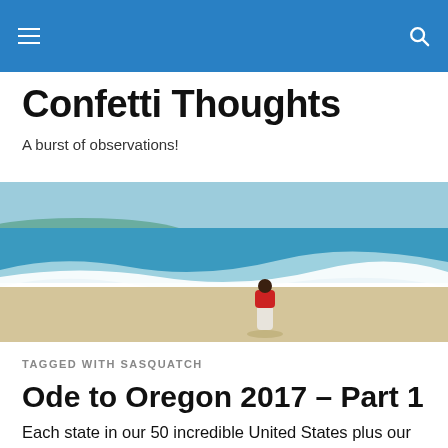Confetti Thoughts — navigation bar with hamburger menu and search icon
Confetti Thoughts
A burst of observations!
[Figure (photo): A person in a red jacket and white skirt stands at the edge of the ocean waves on a sandy beach, with a blue-green sea and distant hills in the background.]
TAGGED WITH SASQUATCH
Ode to Oregon 2017 – Part 1
Each state in our 50 incredible United States plus our other spaces (Puerto Rico comes to mind) has its own